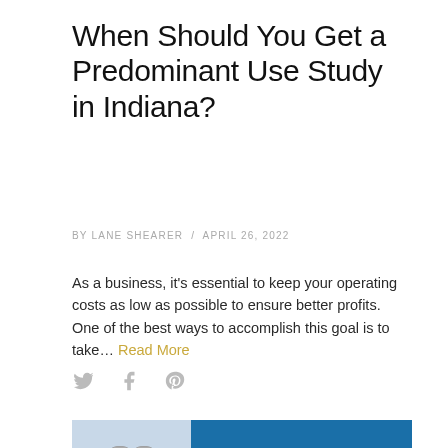When Should You Get a Predominant Use Study in Indiana?
BY LANE SHEARER / APRIL 26, 2022
As a business, it's essential to keep your operating costs as low as possible to ensure better profits. One of the best ways to accomplish this goal is to take... Read More
[Figure (illustration): Three social sharing icons: Twitter bird, Facebook f, and Pinterest p in light gray]
[Figure (photo): Partial photo showing handcuffs or chain links on a metallic surface with a blue gradient background on the right side]